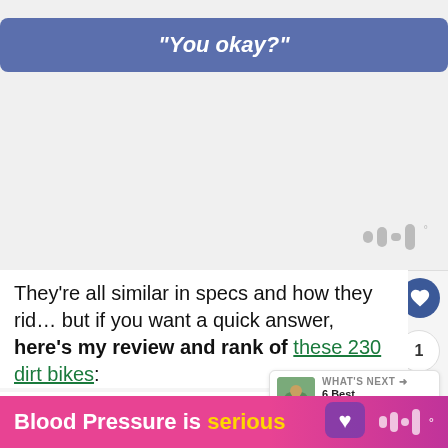[Figure (screenshot): Chat bubble with text 'You okay?' on a blue/purple background]
They're all similar in specs and how they rid… but if you want a quick answer, here's my review and rank of these 230 dirt bikes:
Best budget 230 dirt bike: TTR23…
Best top-end 230 dirt bike: KLX230R
[Figure (infographic): WHAT'S NEXT arrow label with thumbnail image and text '6 Best Beginner Dir...']
[Figure (infographic): Blood Pressure is serious ad banner at the bottom]